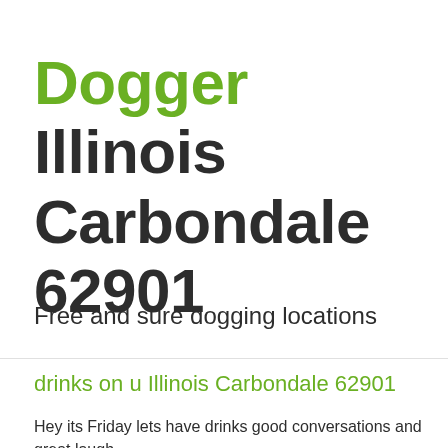Dogger Illinois Carbondale 62901
Free and sure dogging locations
drinks on u Illinois Carbondale 62901
Hey its Friday lets have drinks good conversations and great laugh just something to do Im bored doging USA 25